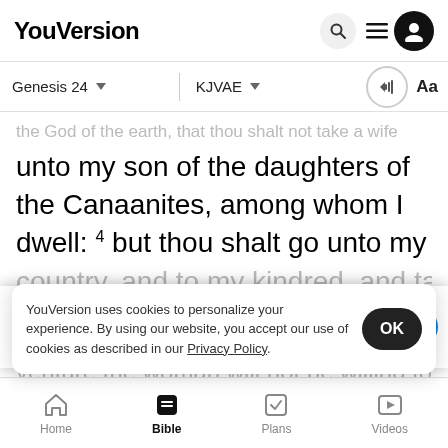YouVersion
Genesis 24 | KJVAE
the God of the earth, that thou shalt not take a wife
unto my son of the daughters of the Canaanites, among whom I dwell: 4 but thou shalt go unto my country, and to my kindred, and take a wife unto
[Figure (screenshot): The Bible App download banner with red holy bible icon, star rating 7.9M, and blue Download button]
venture the woman will not be willing to
follow m
son aga
YouVersion uses cookies to personalize your experience. By using our website, you accept our use of cookies as described in our Privacy Policy.
Home | Bible | Plans | Videos